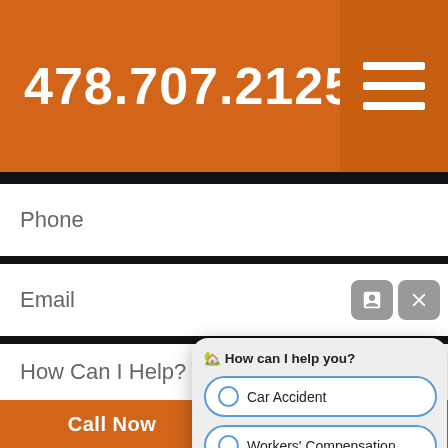478.707.2125
Phone
Email
How Can I Help?
🏡 How can I help you?
Car Accident
Workers' Compensation
Nursing Home
Call Now
Text Us